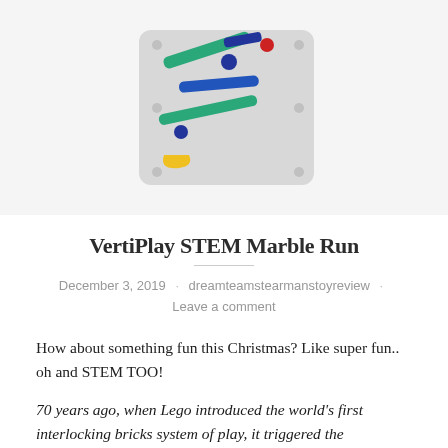[Figure (photo): A VertiPlay STEM Marble Run toy — a grey panel with colorful marble run tracks in green, blue, and yellow, with small marbles on the tracks.]
VertiPlay STEM Marble Run
December 3, 2019 · dreamteamstearmanstoyreview · Leave a comment
How about something fun this Christmas? Like super fun.. oh and STEM TOO!
70 years ago, when Lego introduced the world's first interlocking bricks system of play, it triggered the imagination and attention of kids all around the world. An expandable, versatile and intuitive way to